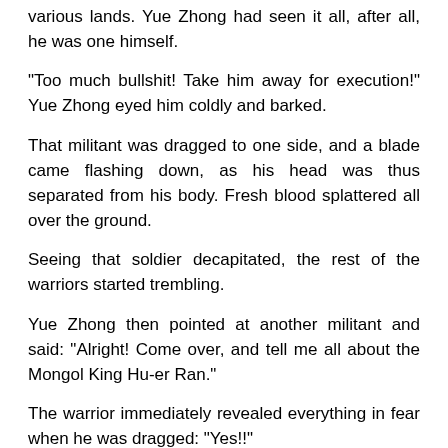various lands. Yue Zhong had seen it all, after all, he was one himself.
“Too much bullshit! Take him away for execution!” Yue Zhong eyed him coldly and barked.
That militant was dragged to one side, and a blade came flashing down, as his head was thus separated from his body. Fresh blood splattered all over the ground.
Seeing that soldier decapitated, the rest of the warriors started trembling.
Yue Zhong then pointed at another militant and said: “Alright! Come over, and tell me all about the Mongol King Hu-er Ran.”
The warrior immediately revealed everything in fear when he was dragged: “Yes!!”
The Mongol King Hu-er Ran was a Mongolian of the Huangjin descent, after the apocalypse happened, he had